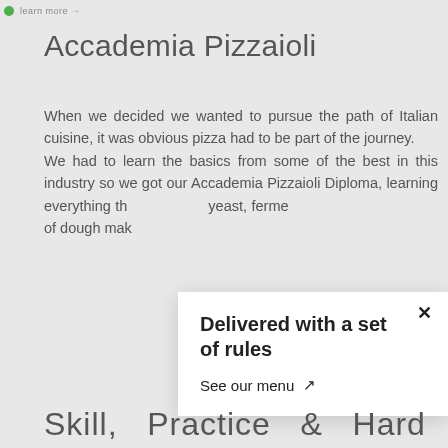learn more →
Accademia Pizzaioli
When we decided we wanted to pursue the path of Italian cuisine, it was obvious pizza had to be part of the journey. We had to learn the basics from some of the best in this industry so we got our Accademia Pizzaioli Diploma, learning everything th... yeast, fermer... of dough mak...
Delivered with a set of rules
See our menu ↗
Skill, Practice & Hard